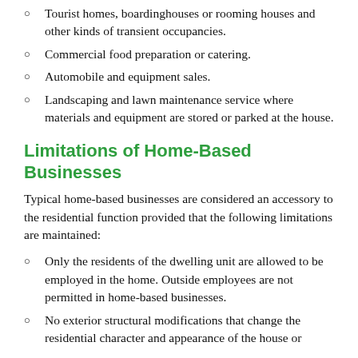Tourist homes, boardinghouses or rooming houses and other kinds of transient occupancies.
Commercial food preparation or catering.
Automobile and equipment sales.
Landscaping and lawn maintenance service where materials and equipment are stored or parked at the house.
Limitations of Home-Based Businesses
Typical home-based businesses are considered an accessory to the residential function provided that the following limitations are maintained:
Only the residents of the dwelling unit are allowed to be employed in the home. Outside employees are not permitted in home-based businesses.
No exterior structural modifications that change the residential character and appearance of the house or